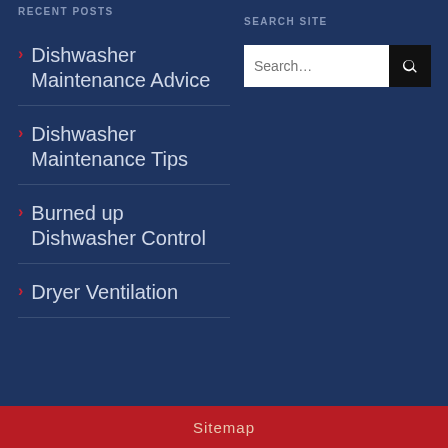RECENT POSTS
SEARCH SITE
Dishwasher Maintenance Advice
Dishwasher Maintenance Tips
Burned up Dishwasher Control
Dryer Ventilation
[Figure (other): Search input field with magnifying glass button]
Sitemap